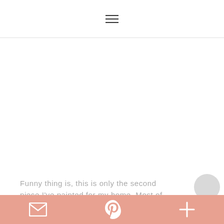≡
[Figure (photo): Large white/blank image area filling most of the page]
Funny thing is, this is only the second piece I've painted for my home. Most of
Mail | Pinterest | +